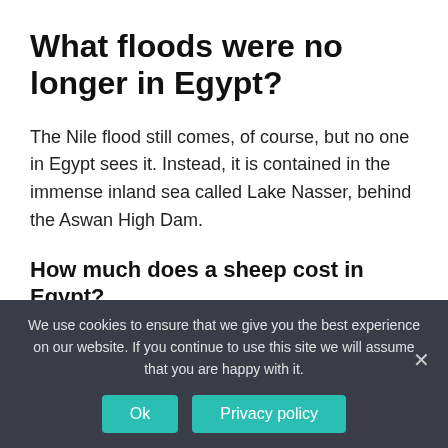What floods were no longer in Egypt?
The Nile flood still comes, of course, but no one in Egypt sees it. Instead, it is contained in the immense inland sea called Lake Nasser, behind the Aswan High Dam.
How much does a sheep cost in Egypt?
We use cookies to ensure that we give you the best experience on our website. If you continue to use this site we will assume that you are happy with it.